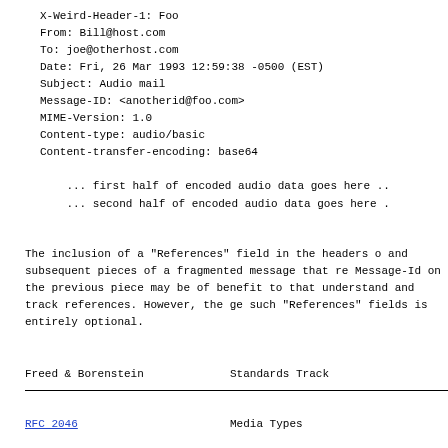X-Weird-Header-1: Foo
From: Bill@host.com
To: joe@otherhost.com
Date: Fri, 26 Mar 1993 12:59:38 -0500 (EST)
Subject: Audio mail
Message-ID: <anotherid@foo.com>
MIME-Version: 1.0
Content-type: audio/basic
Content-transfer-encoding: base64

    ... first half of encoded audio data goes here ..
    ... second half of encoded audio data goes here .
The inclusion of a "References" field in the headers o and subsequent pieces of a fragmented message that re Message-Id on the previous piece may be of benefit to that understand and track references.  However, the ge such "References" fields is entirely optional.
Freed & Borenstein          Standards Track
RFC 2046                    Media Types